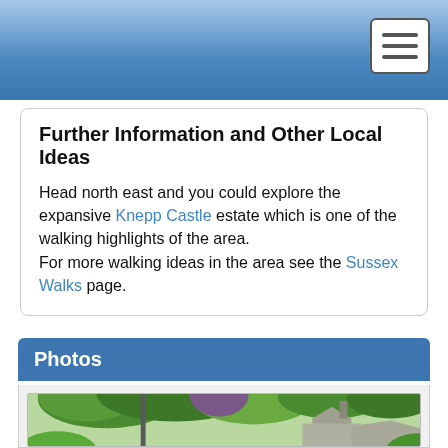Navigation bar with hamburger menu
Further Information and Other Local Ideas
Head north east and you could explore the expansive Knepp Castle estate which is one of the walking highlights of the area. For more walking ideas in the area see the Sussex Walks page.
Photos
[Figure (photo): Photograph showing green trees and a stone building with a chimney, likely a church or historic structure in a rural English setting.]